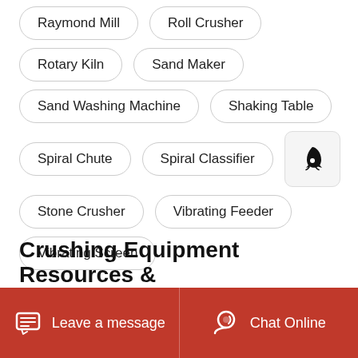Raymond Mill
Roll Crusher
Rotary Kiln
Sand Maker
Sand Washing Machine
Shaking Table
Spiral Chute
Spiral Classifier
Stone Crusher
Vibrating Feeder
Vibrating Screen
Crushing Equipment Resources &
Leave a message
Chat Online